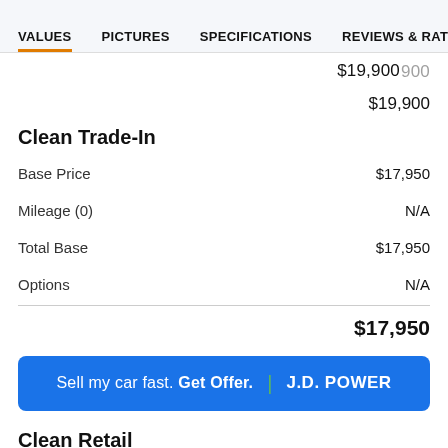VALUES  PICTURES  SPECIFICATIONS  REVIEWS & RATINGS
$19,900
Clean Trade-In
|  |  |
| --- | --- |
| Base Price | $17,950 |
| Mileage (0) | N/A |
| Total Base | $17,950 |
| Options | N/A |
|  | $17,950 |
[Figure (other): Blue CTA button: Sell my car fast. Get Offer. | J.D. POWER]
Clean Retail
|  |  |
| --- | --- |
| Base Price | $20,900 |
| Mileage (0) | N/A |